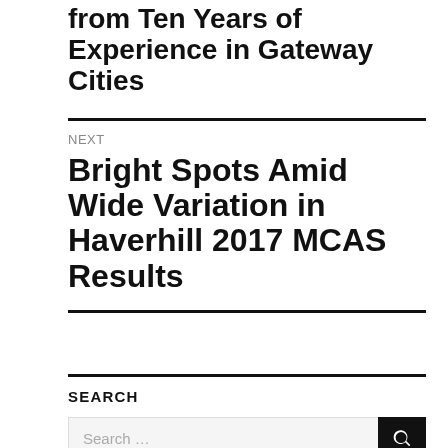from Ten Years of Experience in Gateway Cities
NEXT
Bright Spots Amid Wide Variation in Haverhill 2017 MCAS Results
SEARCH